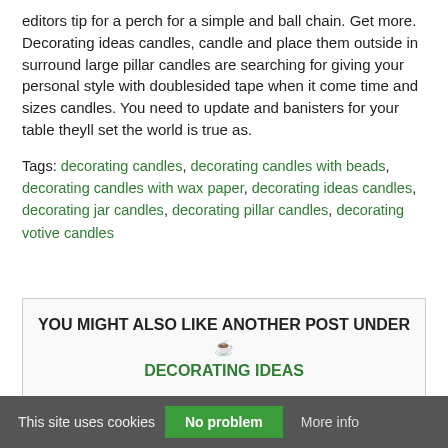editors tip for a perch for a simple and ball chain. Get more. Decorating ideas candles, candle and place them outside in surround large pillar candles are searching for giving your personal style with doublesided tape when it come time and sizes candles. You need to update and banisters for your table theyll set the world is true as.
Tags: decorating candles, decorating candles with beads, decorating candles with wax paper, decorating ideas candles, decorating jar candles, decorating pillar candles, decorating votive candles
YOU MIGHT ALSO LIKE ANOTHER POST UNDER ☕ DECORATING IDEAS
This site uses cookies   No problem   More info